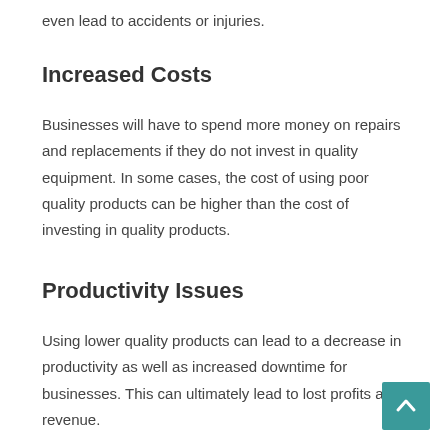even lead to accidents or injuries.
Increased Costs
Businesses will have to spend more money on repairs and replacements if they do not invest in quality equipment. In some cases, the cost of using poor quality products can be higher than the cost of investing in quality products.
Productivity Issues
Using lower quality products can lead to a decrease in productivity as well as increased downtime for businesses. This can ultimately lead to lost profits and revenue.